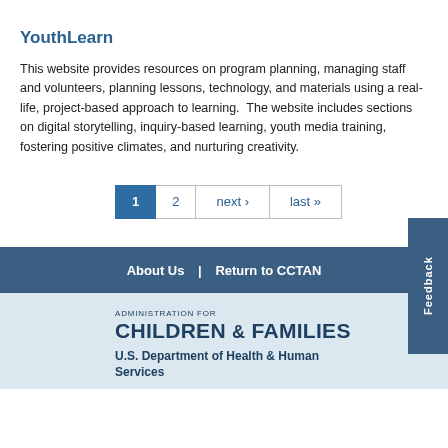YouthLearn
This website provides resources on program planning, managing staff and volunteers, planning lessons, technology, and materials using a real-life, project-based approach to learning.  The website includes sections on digital storytelling, inquiry-based learning, youth media training, fostering positive climates, and nurturing creativity.
1  2  next ›  last »
About Us  |  Return to CCTAN
[Figure (logo): Administration for Children & Families logo with text U.S. Department of Health & Human Services]